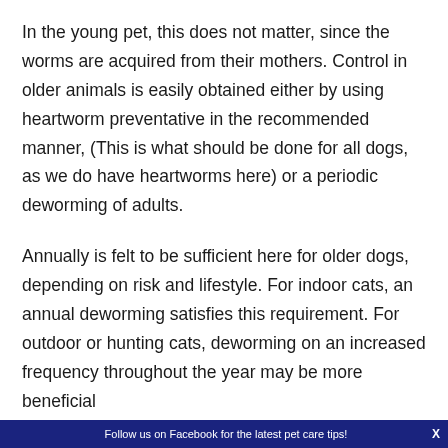In the young pet, this does not matter, since the worms are acquired from their mothers. Control in older animals is easily obtained either by using heartworm preventative in the recommended manner, (This is what should be done for all dogs, as we do have heartworms here) or a periodic deworming of adults.
Annually is felt to be sufficient here for older dogs, depending on risk and lifestyle. For indoor cats, an annual deworming satisfies this requirement. For outdoor or hunting cats, deworming on an increased frequency throughout the year may be more beneficial
Follow us on Facebook for the latest pet care tips!